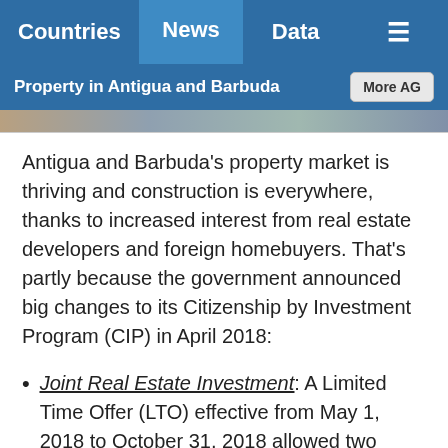Countries | News | Data | Menu
Property in Antigua and Barbuda
Antigua and Barbuda's property market is thriving and construction is everywhere, thanks to increased interest from real estate developers and foreign homebuyers. That's partly because the government announced big changes to its Citizenship by Investment Program (CIP) in April 2018:
Joint Real Estate Investment: A Limited Time Offer (LTO) effective from May 1, 2018 to October 31, 2018 allowed two applicants to jointly purchase qualifying real estate, each